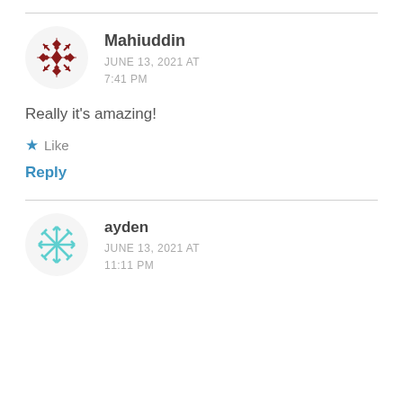[Figure (illustration): Dark red geometric snowflake avatar for user Mahiuddin]
Mahiuddin
JUNE 13, 2021 AT
7:41 PM
Really it's amazing!
★ Like
Reply
[Figure (illustration): Teal/cyan geometric snowflake avatar for user ayden]
ayden
JUNE 13, 2021 AT
11:11 PM